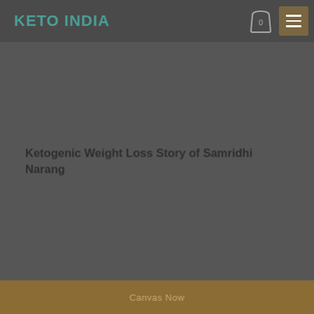KETO INDIA
Ketogenic Weight Loss Story of Samridhi Narang
Canvas Now